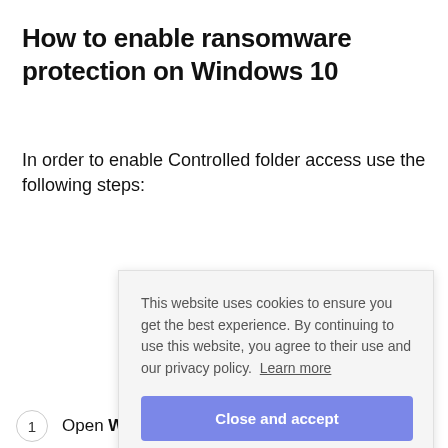How to enable ransomware protection on Windows 10
In order to enable Controlled folder access use the following steps:
[Figure (screenshot): Cookie consent popup overlay with text: 'This website uses cookies to ensure you get the best experience. By continuing to use this website, you agree to their use and our privacy policy. Learn more' and a blue 'Close and accept' button.]
1  Open Windows Defender Security Center.